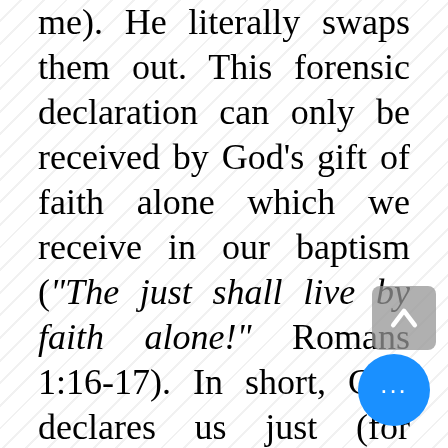me). He literally swaps them out. This forensic declaration can only be received by God's gift of faith alone which we receive in our baptism ("The just shall live by faith alone!" Romans 1:16-17). In short, God declares us just (for Jesus' sake, not ours). We cannot first become just in order to be declared just because we do not possess any righteousness of our